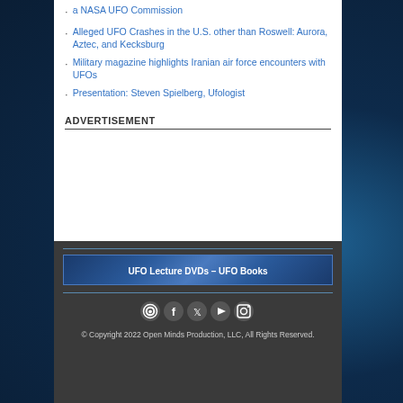a NASA UFO Commission
Alleged UFO Crashes in the U.S. other than Roswell: Aurora, Aztec, and Kecksburg
Military magazine highlights Iranian air force encounters with UFOs
Presentation: Steven Spielberg, Ufologist
ADVERTISEMENT
UFO Lecture DVDs – UFO Books
© Copyright 2022 Open Minds Production, LLC, All Rights Reserved.